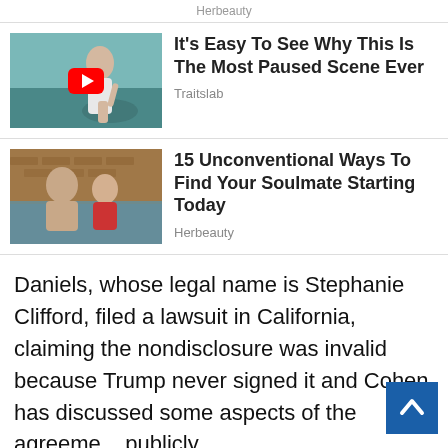Herbeauty
[Figure (photo): Thumbnail image of a woman seated in a white outfit with a YouTube play button overlay]
It's Easy To See Why This Is The Most Paused Scene Ever
Traitslab
[Figure (photo): Thumbnail image of a muscular man and woman in water, couple photo]
15 Unconventional Ways To Find Your Soulmate Starting Today
Herbeauty
Daniels, whose legal name is Stephanie Clifford, filed a lawsuit in California, claiming the nondisclosure was invalid because Trump never signed it and Cohen has discussed some aspects of the agreement publicly.